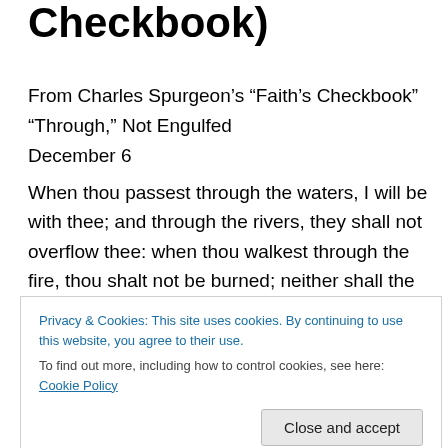Checkbook)
From Charles Spurgeon's “Faith’s Checkbook”
“Through,” Not Engulfed
December 6
When thou passest through the waters, I will be with thee; and through the rivers, they shall not overflow thee: when thou walkest through the fire, thou shalt not be burned; neither shall the flame kindle upon thee. (Isaiah 43:2)
Bridge there is none: we must go through the waters and feel the rush of the rivers. The presence of God in the
Privacy & Cookies: This site uses cookies. By continuing to use this website, you agree to their use.
To find out more, including how to control cookies, see here: Cookie Policy
be with them in difficulties and dangers. The sorrows of life